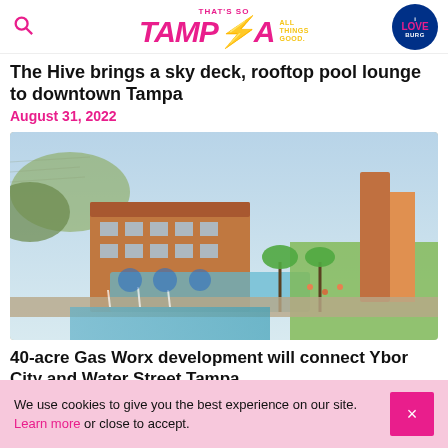That's So Tampa — All Things Good. iLoveBurg
The Hive brings a sky deck, rooftop pool lounge to downtown Tampa
August 31, 2022
[Figure (illustration): Aerial architectural rendering of a 40-acre mixed-use waterfront development with brick buildings, rooftop pools, green spaces, palm trees, a canal with fountains, and urban streetscape]
40-acre Gas Worx development will connect Ybor City and Water Street Tampa
We use cookies to give you the best experience on our site. Learn more or close to accept.